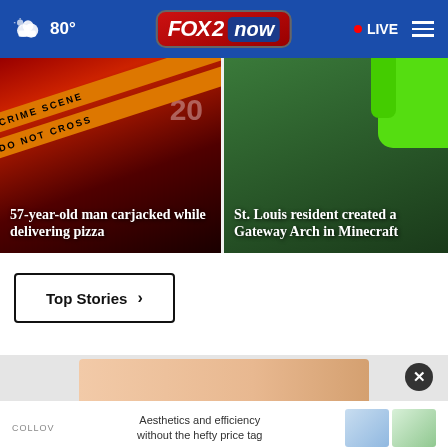80° FOX 2 now · LIVE
[Figure (screenshot): Crime scene tape photo with text: 57-year-old man carjacked while delivering pizza]
[Figure (photo): Green equipment/gear photo with text: St. Louis resident created a Gateway Arch in Minecraft]
Top Stories ›
[Figure (photo): Advertisement banner showing skin/body image with close button]
Aesthetics and efficiency without the hefty price tag
COLLOV